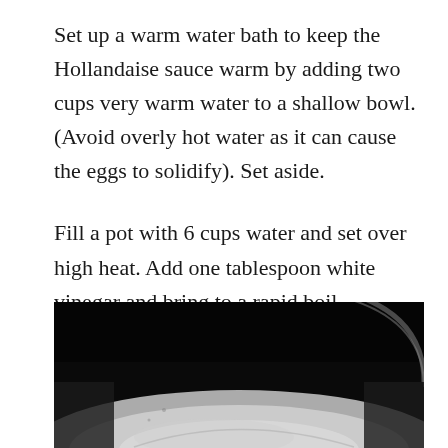Set up a warm water bath to keep the Hollandaise sauce warm by adding two cups very warm water to a shallow bowl. (Avoid overly hot water as it can cause the eggs to solidify). Set aside.
Fill a pot with 6 cups water and set over high heat. Add one tablespoon white vinegar and bring to a rapid boil.
[Figure (photo): Close-up dark photo of a pot or bowl with shiny metallic interior, dark background, partial circular rim visible at top right]